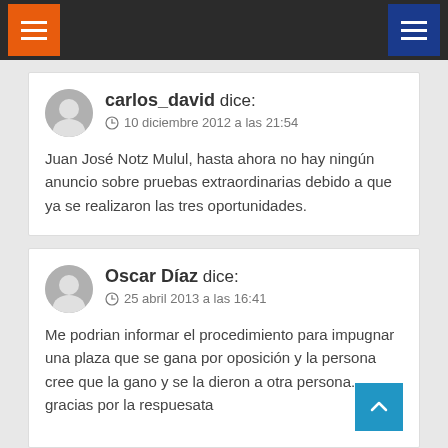Navigation bar with orange and blue menu buttons
carlos_david dice: © 10 diciembre 2012 a las 21:54
Juan José Notz Mulul, hasta ahora no hay ningún anuncio sobre pruebas extraordinarias debido a que ya se realizaron las tres oportunidades.
Oscar Díaz dice: © 25 abril 2013 a las 16:41
Me podrian informar el procedimiento para impugnar una plaza que se gana por oposición y la persona cree que la gano y se la dieron a otra persona. gracias por la respuesata